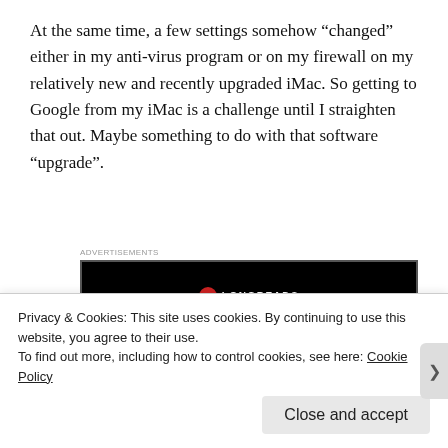At the same time, a few settings somehow “changed” either in my anti-virus program or on my firewall on my relatively new and recently upgraded iMac. So getting to Google from my iMac is a challenge until I straighten that out. Maybe something to do with that software “upgrade”.
[Figure (other): Advertisement banner for Longreads with text: Read anything great lately?]
My Android powered smart phone just celebrated it’s 12
Privacy & Cookies: This site uses cookies. By continuing to use this website, you agree to their use.
To find out more, including how to control cookies, see here: Cookie Policy